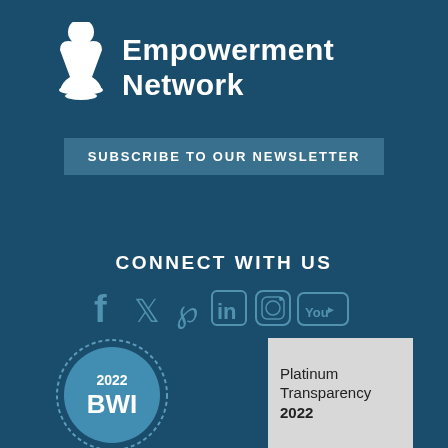[Figure (logo): Empowerment Network logo with white chalice/figure icon and bold white text reading 'Empowerment Network']
SUBSCRIBE TO OUR NEWSLETTER
CONNECT WITH US
[Figure (infographic): Social media icons: Facebook, Twitter, Pinterest, LinkedIn, Instagram, YouTube displayed in muted teal color]
[Figure (other): 2022 BWI badge/seal in blue and white circular design]
[Figure (other): Platinum Transparency 2022 badge in light grey box]